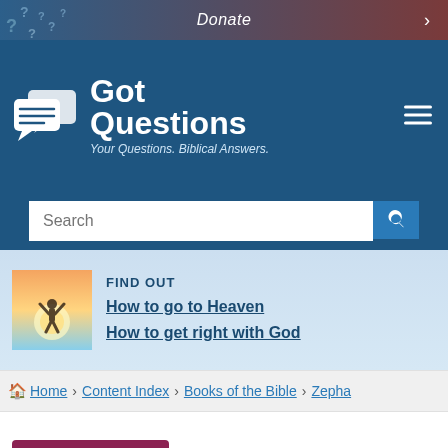Donate
[Figure (logo): GotQuestions logo with speech bubble icons and tagline 'Your Questions. Biblical Answers.']
Search
[Figure (infographic): FIND OUT - How to go to Heaven / How to get right with God banner with person silhouette image]
FIND OUT
How to go to Heaven
How to get right with God
Home > Content Index > Books of the Bible > Zepha
QUESTION